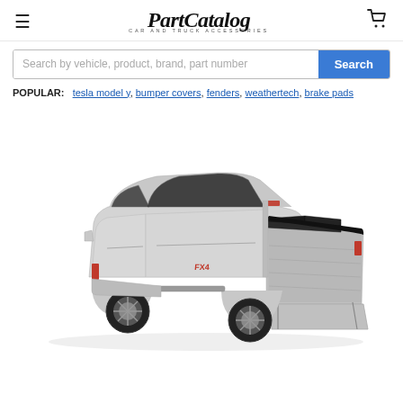PartCatalog — Car and Truck Accessories
Search by vehicle, product, brand, part number
POPULAR: tesla model y, bumper covers, fenders, weathertech, brake pads
[Figure (photo): Silver Ford F-150 FX4 pickup truck with a tri-fold tonneau cover open, showing the truck bed, viewed from the rear three-quarter angle on a white background.]